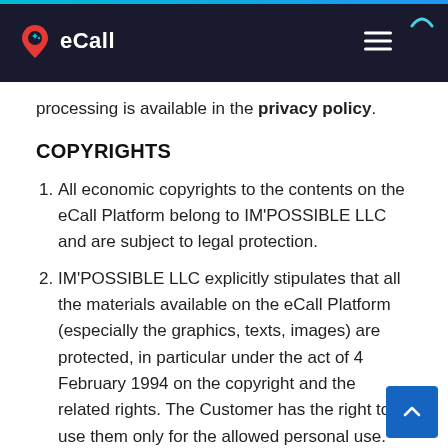eCall
processing is available in the privacy policy.
COPYRIGHTS
All economic copyrights to the contents on the eCall Platform belong to IM'POSSIBLE LLC and are subject to legal protection.
IM'POSSIBLE LLC explicitly stipulates that all the materials available on the eCall Platform (especially the graphics, texts, images) are protected, in particular under the act of 4 February 1994 on the copyright and the related rights. The Customer has the right to use them only for the allowed personal use. Copying, multiplication, distribution and other forms of using the materials from the eCall Platform